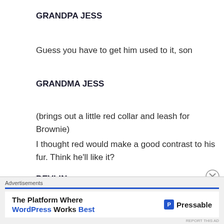GRANDPA JESS
Guess you have to get him used to it, son
GRANDMA JESS
(brings out a little red collar and leash for Brownie)
I thought red would make a good contrast to his fur. Think he'll like it?
DEVLIN
It looks great Grandma. Your first little collar Brownie
Advertisements
The Platform Where WordPress Works Best — Pressable